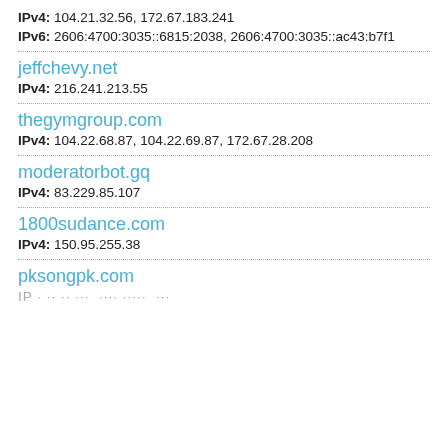IPv4: 104.21.32.56, 172.67.183.241
IPv6: 2606:4700:3035::6815:2038, 2606:4700:3035::ac43:b7f1
jeffchevy.net
IPv4: 216.241.213.55
thegymgroup.com
IPv4: 104.22.68.87, 104.22.69.87, 172.67.28.208
moderatorbot.gq
IPv4: 83.229.85.107
1800sudance.com
IPv4: 150.95.255.38
pksongpk.com
IPv4: ...